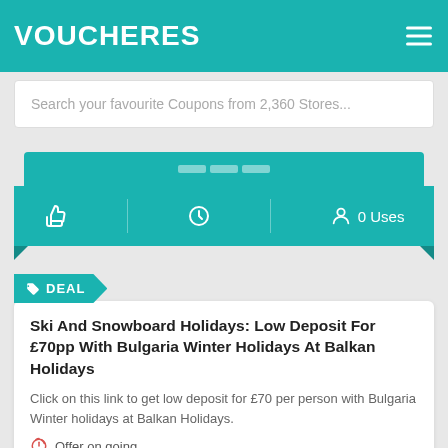VOUCHERES
Search your favourite Coupons from 2,360 Stores...
[Figure (infographic): Coupon stats bar with thumbs-up icon, clock icon, and '0 Uses' user icon on teal background with folded ribbon corners]
Ski And Snowboard Holidays: Low Deposit For £70pp With Bulgaria Winter Holidays At Balkan Holidays
Click on this link to get low deposit for £70 per person with Bulgaria Winter holidays at Balkan Holidays.
Offer on going
Get Deal